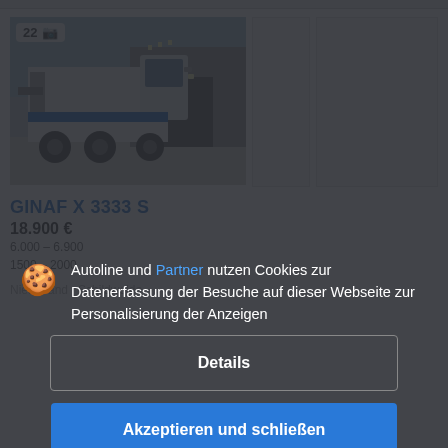[Figure (photo): White DAF heavy truck with blue stripe and hook-lift system, parked in front of industrial building. Badge shows 22 photos.]
[Figure (photo): Secondary thumbnail image (blank/loading)]
[Figure (photo): Third thumbnail image (partially visible, blank/loading)]
GINAF X 3333 S
18.900 €
Autoline und Partner nutzen Cookies zur Datenerfassung der Besuche auf dieser Webseite zur Personalisierung der Anzeigen
Details
Akzeptieren und schließen